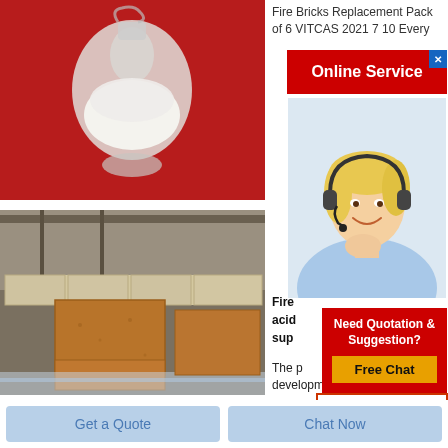[Figure (photo): White powder in a glass flask on red background]
[Figure (photo): Fire bricks stacked in a warehouse]
Fire Bricks Replacement Pack of 6 VITCAS 2021 7 10 Every
[Figure (screenshot): Online Service button in red with close X]
[Figure (photo): Woman with headset smiling - online service representative]
Fire acid sup
The p development has helped
[Figure (infographic): Need Quotation & Suggestion? Free Chat popup in red]
[Figure (screenshot): Get Price button with red border]
Get a Quote
Chat Now